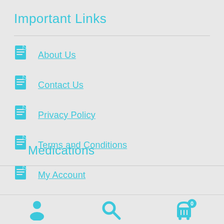Important Links
About Us
Contact Us
Privacy Policy
Terms and Conditions
My Account
Medications
[Figure (infographic): Bottom navigation bar with user/person icon, search icon, and shopping cart icon with badge showing 0]